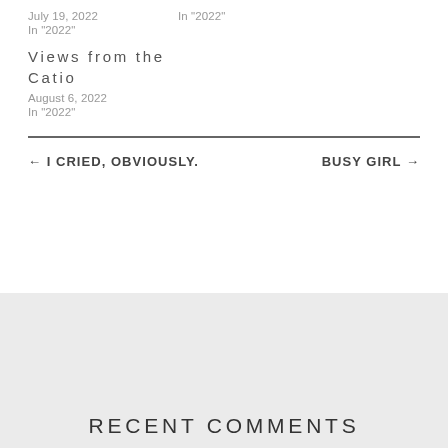July 19, 2022    In "2022"
In "2022"
Views from the Catio
August 6, 2022
In "2022"
← I CRIED, OBVIOUSLY.
BUSY GIRL →
RECENT COMMENTS